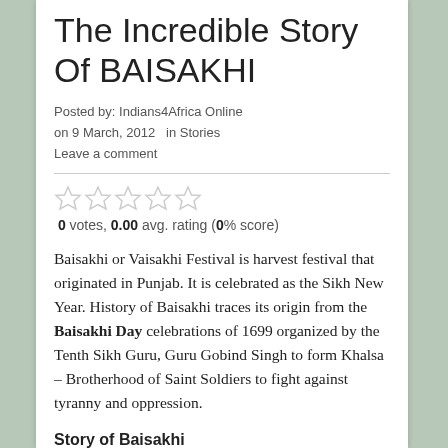The Incredible Story Of BAISAKHI
Posted by: Indians4Africa Online on 9 March, 2012   in Stories Leave a comment
[Figure (other): Five empty star rating icons in a row]
0 votes, 0.00 avg. rating (0% score)
Baisakhi or Vaisakhi Festival is harvest festival that originated in Punjab. It is celebrated as the Sikh New Year. History of Baisakhi traces its origin from the Baisakhi Day celebrations of 1699 organized by the Tenth Sikh Guru, Guru Gobind Singh to form Khalsa – Brotherhood of Saint Soldiers to fight against tyranny and oppression.
Story of Baisakhi
The story of Baisakhi Festival began with the coronation of Guru Gobind Singh...